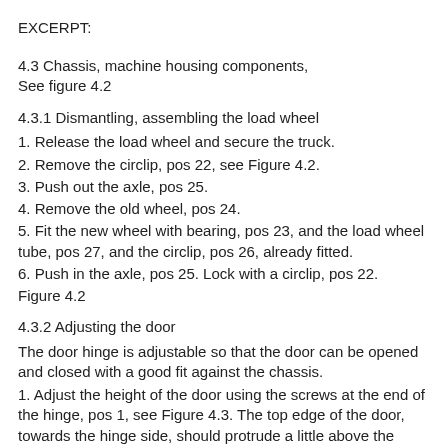EXCERPT:
4.3 Chassis, machine housing components,
See figure 4.2
4.3.1 Dismantling, assembling the load wheel
1. Release the load wheel and secure the truck.
2. Remove the circlip, pos 22, see Figure 4.2.
3. Push out the axle, pos 25.
4. Remove the old wheel, pos 24.
5. Fit the new wheel with bearing, pos 23, and the load wheel tube, pos 27, and the circlip, pos 26, already fitted.
6. Push in the axle, pos 25. Lock with a circlip, pos 22.
Figure 4.2
4.3.2 Adjusting the door
The door hinge is adjustable so that the door can be opened and closed with a good fit against the chassis.
1. Adjust the height of the door using the screws at the end of the hinge, pos 1, see Figure 4.3. The top edge of the door, towards the hinge side, should protrude a little above the edge of the chassis.
Adjusting the fit of the door against the chassis:
1. Loosen the screw, pos 19, see Figure 4.3, a few turns.